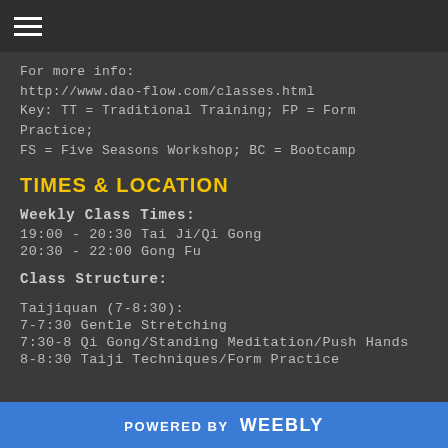☰
For more info:
http://www.dao-flow.com/classes.html
Key: TT = Traditional Training; FP = Form Practice; FS = Five Seasons Workshop; BC = Bootcamp
TIMES & LOCATION
Weekly Class Times:
19:00 - 20:30 Tai Ji/Qi Gong
20:30 - 22:00 Gong Fu
Class Structure:
Taijiquan (7-8:30):
7-7:30 Gentle Stretching
7:30-8 Qi Gong/Standing Meditation/Push Hands
8-8:30 Taiji Techniques/Form Practice
POWERED BY weebly